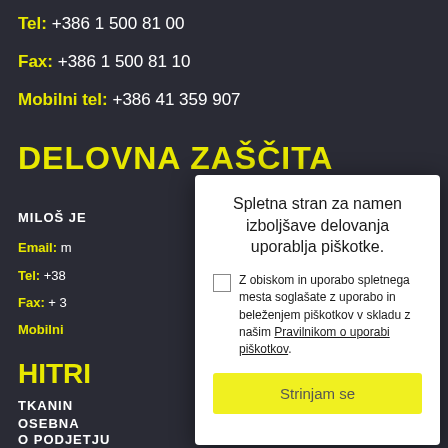Tel: +386 1 500 81 00
Fax: +386 1 500 81 10
Mobilni tel: +386 41 359 907
DELOVNA ZAŠČITA
MILOŠ JE...
Email: m...
Tel: +38...
Fax: + 3...
Mobilni ...
HITRI...
TKANIN...
OSEBNA...
O PODJETJU
[Figure (screenshot): Cookie consent modal popup with title 'Spletna stran za namen izboljšave delovanja uporablja piškotke.', a checkbox with consent text referencing 'Pravilnikom o uporabi piškotkov', and a yellow 'Strinjam se' button.]